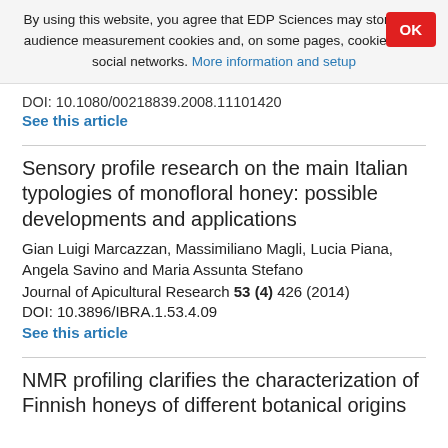By using this website, you agree that EDP Sciences may store web audience measurement cookies and, on some pages, cookies from social networks. More information and setup
DOI: 10.1080/00218839.2008.11101420
See this article
Sensory profile research on the main Italian typologies of monofloral honey: possible developments and applications
Gian Luigi Marcazzan, Massimiliano Magli, Lucia Piana, Angela Savino and Maria Assunta Stefano
Journal of Apicultural Research 53 (4) 426 (2014)
DOI: 10.3896/IBRA.1.53.4.09
See this article
NMR profiling clarifies the characterization of Finnish honeys of different botanical origins